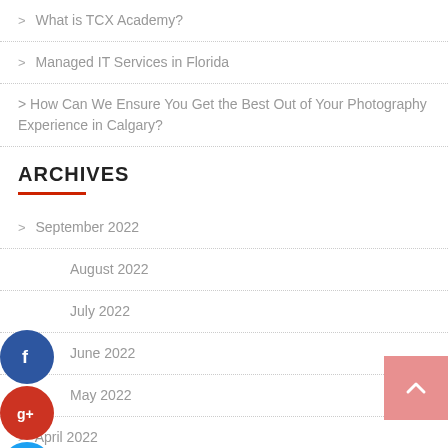> What is TCX Academy?
> Managed IT Services in Florida
> How Can We Ensure You Get the Best Out of Your Photography Experience in Calgary?
ARCHIVES
> September 2022
> August 2022
> July 2022
> June 2022
> May 2022
> April 2022
> March 2022